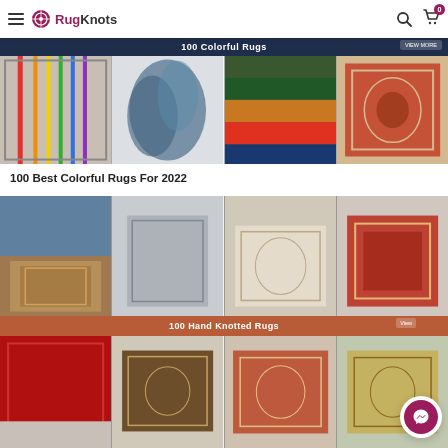RugKnots - Navigation bar with hamburger menu, logo, search and cart (0 items)
[Figure (photo): Banner showing '100 Colorful Rugs' with VIEW MORE button on dark navy background, followed by a 4-column grid of colorful rug photos: striped geometric rug, blue abstract rug, green/rainbow gabbeh rug, red ornate traditional rug]
100 Best Colorful Rugs For 2022
[Figure (photo): Banner showing '100 Hand Knotted Rugs' with VIEW MORE button on terracotta/rust colored background. Top grid: traditional Persian rug in living room, grey distressed rug, ivory/cream rug, red traditional rug. Bottom grid: red gabbeh rug, dark brown traditional rug, rust/orange traditional rug, gold/beige rug]
[Figure (other): Facebook Messenger chat button (circular, dark magenta/maroon) in bottom-right corner]